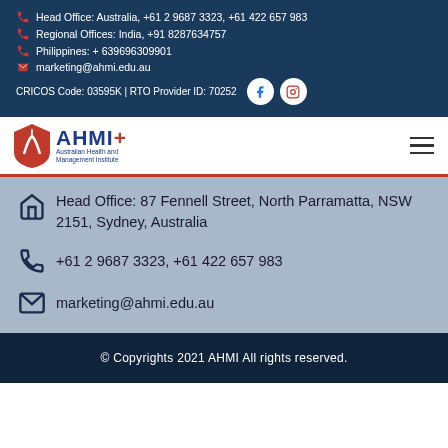Head Office: Australia, +61 2 9687 3323, +61 422 657 983
Regional Offices: India, +91 8287634757
Philippines: + 639696309901
marketing@ahmi.edu.au
CRICOS Code: 03595K | RTO Provider ID: 70252
[Figure (logo): AHMI Australian Health and Management Institute logo with red shield and flame icon]
Head Office: 87 Fennell Street, North Parramatta, NSW 2151, Sydney, Australia
+61 2 9687 3323, +61 422 657 983
marketing@ahmi.edu.au
© Copyrights 2021 AHMI All rights reserved.